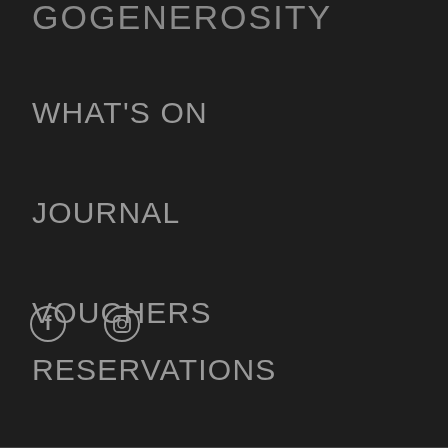GOGENEROSITY
WHAT'S ON
JOURNAL
VOUCHERS
RESERVATIONS
[Figure (other): Social media icons: Facebook (f) and Instagram (camera icon)]